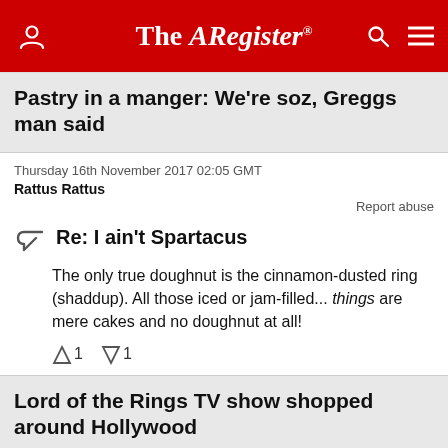The Register
Pastry in a manger: We're soz, Greggs man said
Thursday 16th November 2017 02:05 GMT
Rattus Rattus
Report abuse
Re: I ain't Spartacus
The only true doughnut is the cinnamon-dusted ring (shaddup). All those iced or jam-filled... things are mere cakes and no doughnut at all!
↑1  ↓1
Lord of the Rings TV show shopped around Hollywood
Wednesday 8th November 2017 04:14 GMT
Rattus Rattus